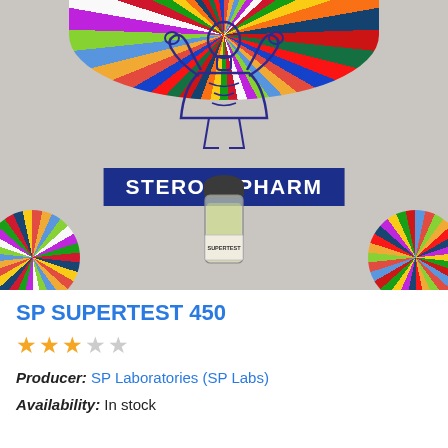[Figure (photo): Product photo showing a vial labeled SUPERTEST on a table in front of a STEROID-PHARM branded backdrop with a bodybuilder logo and globe/flag ball decorations]
SP SUPERTEST 450
★★★☆☆ (2.5 out of 5 stars rating)
Producer: SP Laboratories (SP Labs)
Availability: In stock